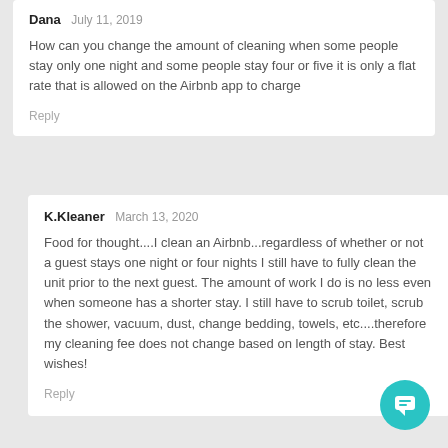Dana  July 11, 2019
How can you change the amount of cleaning when some people stay only one night and some people stay four or five it is only a flat rate that is allowed on the Airbnb app to charge
Reply
K.Kleaner  March 13, 2020
Food for thought....I clean an Airbnb...regardless of whether or not a guest stays one night or four nights I still have to fully clean the unit prior to the next guest. The amount of work I do is no less even when someone has a shorter stay. I still have to scrub toilet, scrub the shower, vacuum, dust, change bedding, towels, etc....therefore my cleaning fee does not change based on length of stay. Best wishes!
Reply